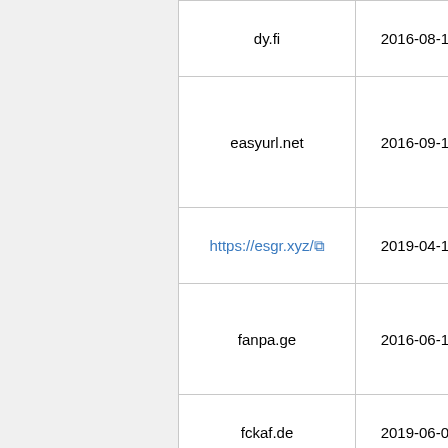| Domain | Date |
| --- | --- |
| dy.fi | 2016-08-19 |
| easyurl.net | 2016-09-18 |
| https://esgr.xyz/ | 2019-04-15 |
| fanpa.ge | 2016-06-19 |
| fckaf.de | 2019-06-01 |
| ffm.to | 2019-04-08 |
| filoops.info | 2016-01-29 |
| firsturl.de (alias firsturl.net/wyon.de/fiurl.de/) | 2016-02-17 |